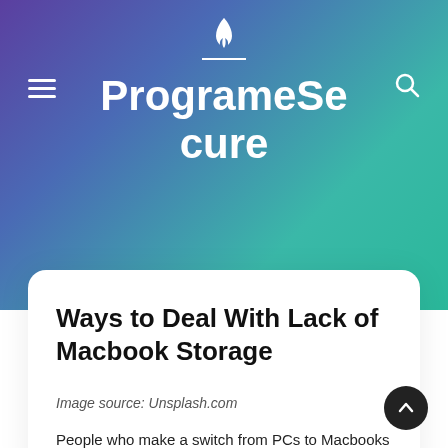ProgrameSecure
Ways to Deal With Lack of Macbook Storage
Image source: Unsplash.com
People who make a switch from PCs to Macbooks